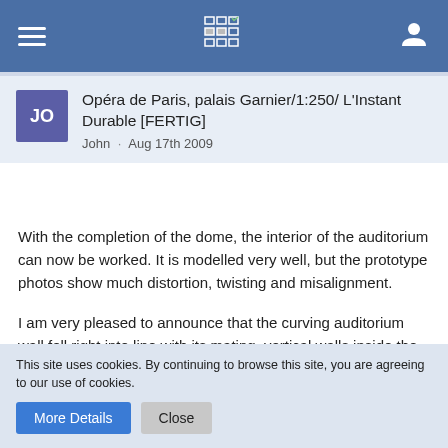Navigation bar with hamburger menu, grid icon, and user icon
Opéra de Paris, palais Garnier/1:250/ L'Instant Durable [FERTIG]
John · Aug 17th 2009
With the completion of the dome, the interior of the auditorium can now be worked. It is modelled very well, but the prototype photos show much distortion, twisting and misalignment.
I am very pleased to announce that the curving auditorium wall fell right into line with its mating, vertical walls inside the model. After some rough work on the dome, this is very encouraging.
Images
This site uses cookies. By continuing to browse this site, you are agreeing to our use of cookies.